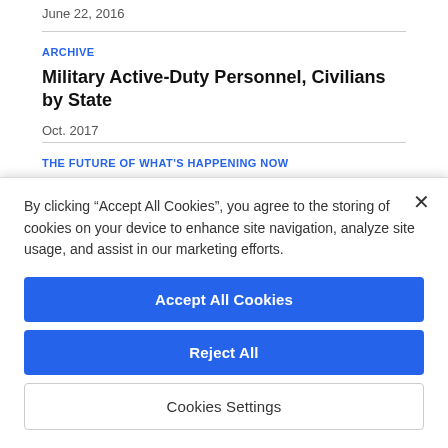June 22, 2016
ARCHIVE
Military Active-Duty Personnel, Civilians by State
Oct. 2017
THE FUTURE OF WHAT'S HAPPENING NOW
More States Are Forgoing Extra Federal Food Aid
By clicking “Accept All Cookies”, you agree to the storing of cookies on your device to enhance site navigation, analyze site usage, and assist in our marketing efforts.
Accept All Cookies
Reject All
Cookies Settings